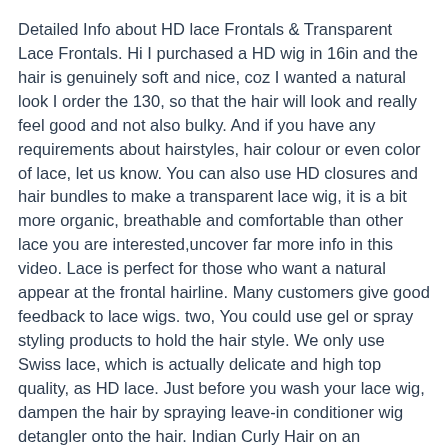Detailed Info about HD lace Frontals & Transparent Lace Frontals. Hi I purchased a HD wig in 16in and the hair is genuinely soft and nice, coz I wanted a natural look I order the 130, so that the hair will look and really feel good and not also bulky. And if you have any requirements about hairstyles, hair colour or even color of lace, let us know. You can also use HD closures and hair bundles to make a transparent lace wig, it is a bit more organic, breathable and comfortable than other lace you are interested,uncover far more info in this video. Lace is perfect for those who want a natural appear at the frontal hairline. Many customers give good feedback to lace wigs. two, You could use gel or spray styling products to hold the hair style. We only use Swiss lace, which is actually delicate and high top quality, as HD lace. Just before you wash your lace wig, dampen the hair by spraying leave-in conditioner wig detangler onto the hair. Indian Curly Hair on an undetectable lace frontal. A: As we described above, HD lace is a new name of Swiss lace, a type